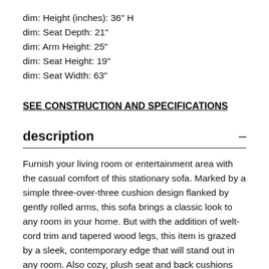dim: Height (inches): 36" H
dim: Seat Depth: 21"
dim: Arm Height: 25"
dim: Seat Height: 19"
dim: Seat Width: 63"
SEE CONSTRUCTION AND SPECIFICATIONS
description
Furnish your living room or entertainment area with the casual comfort of this stationary sofa. Marked by a simple three-over-three cushion design flanked by gently rolled arms, this sofa brings a classic look to any room in your home. But with the addition of welt-cord trim and tapered wood legs, this item is grazed by a sleek, contemporary edge that will stand out in any room. Also cozy, plush seat and back cushions provide the soft support you need for long-term lounging and